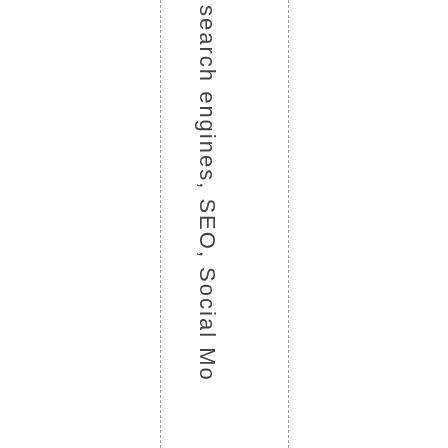search engines, SEO, Social Mo